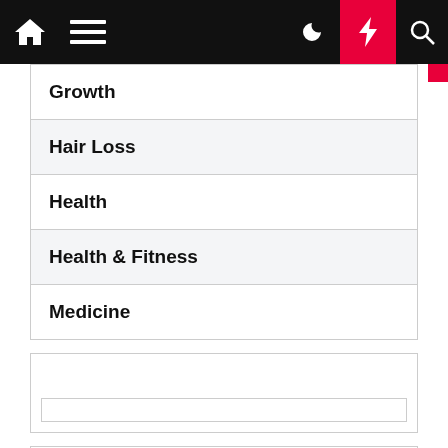[Figure (screenshot): Website navigation bar with home icon, hamburger menu, moon/dark-mode icon, red lightning bolt button, and search icon on black background]
Growth
Hair Loss
Health
Health & Fitness
Medicine
[Figure (screenshot): Empty widget box with a text input bar inside]
[Figure (screenshot): Empty widget box]